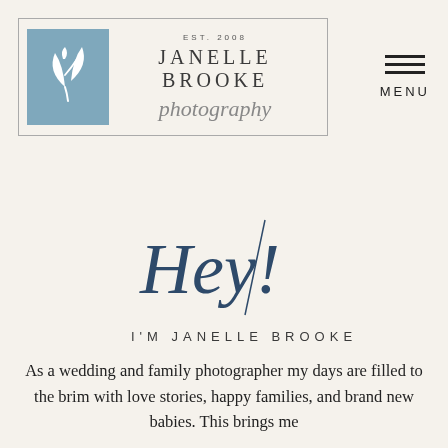[Figure (logo): Janelle Brooke Photography logo: blue square with white floral/butterfly emblem, bordered box with text EST. 2008, JANELLE BROOKE photography in serif and script fonts. Menu icon (three horizontal lines) with MENU label to the right.]
Hey! I'M JANELLE BROOKE
As a wedding and family photographer my days are filled to the brim with love stories, happy families, and brand new babies. This brings me